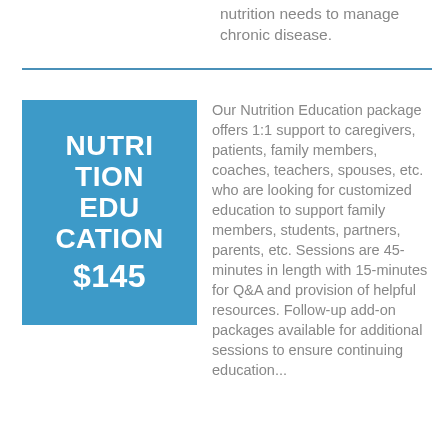nutrition needs to manage chronic disease.
Our Nutrition Education package offers 1:1 support to caregivers, patients, family members, coaches, teachers, spouses, etc. who are looking for customized education to support family members, students, partners, parents, etc. Sessions are 45-minutes in length with 15-minutes for Q&A and provision of helpful resources. Follow-up add-on packages available for additional sessions to ensure continuing education...